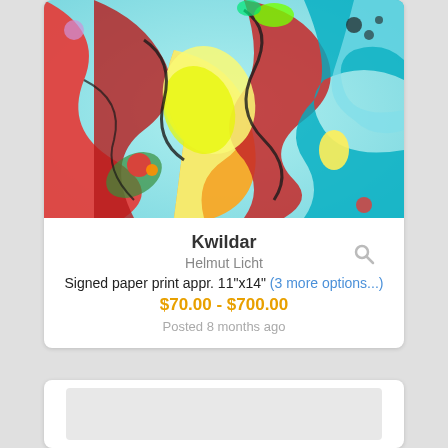[Figure (illustration): Abstract colorful digital art print showing swirling red, teal, yellow, and green organic shapes]
Kwildar
Helmut Licht
Signed paper print appr. 11"x14" (3 more options...)
$70.00 - $700.00
Posted 8 months ago
[Figure (illustration): Partially visible second listing card with a light gray image placeholder area]